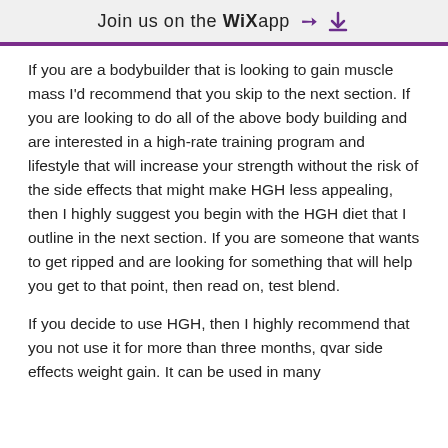Join us on the WiX app
If you are a bodybuilder that is looking to gain muscle mass I'd recommend that you skip to the next section. If you are looking to do all of the above body building and are interested in a high-rate training program and lifestyle that will increase your strength without the risk of the side effects that might make HGH less appealing, then I highly suggest you begin with the HGH diet that I outline in the next section. If you are someone that wants to get ripped and are looking for something that will help you get to that point, then read on, test blend.
If you decide to use HGH, then I highly recommend that you not use it for more than three months, qvar side effects weight gain. It can be used in many